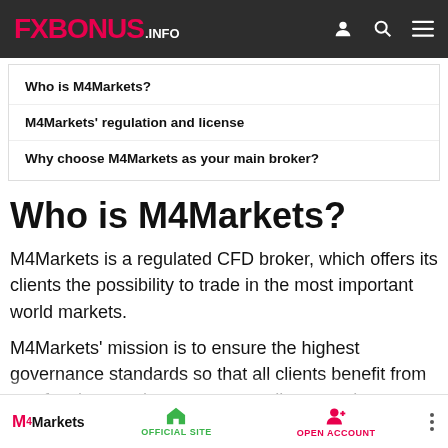FXBONUS.INFO
Who is M4Markets?
M4Markets' regulation and license
Why choose M4Markets as your main broker?
Who is M4Markets?
M4Markets is a regulated CFD broker, which offers its clients the possibility to trade in the most important world markets.
M4Markets' mission is to ensure the highest governance standards so that all clients benefit from a safe, clear, and transparent trading experience.
M4Markets | OFFICIAL SITE | OPEN ACCOUNT